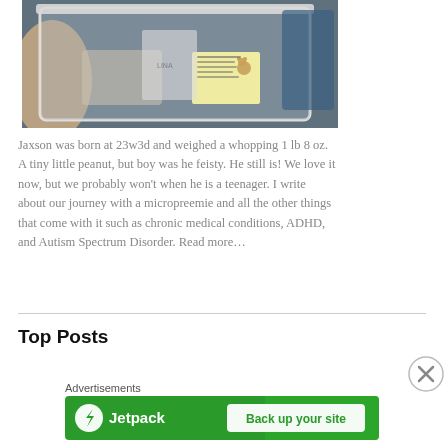[Figure (photo): A newborn baby in a hospital incubator/bassinet. There is a yellow card with a teddy bear graphic visible inside the clear container. Adults are visible in the background.]
Jaxson was born at 23w3d and weighed a whopping 1 lb 8 oz. A tiny little peanut, but boy was he feisty. He still is! We love it now, but we probably won't when he is a teenager. I write about our journey with a micropreemie and all the other things that come with it such as chronic medical conditions, ADHD, and Autism Spectrum Disorder. Read more…
Top Posts
Advertisements
[Figure (screenshot): Jetpack advertisement banner with green background showing 'Back up your site' button]